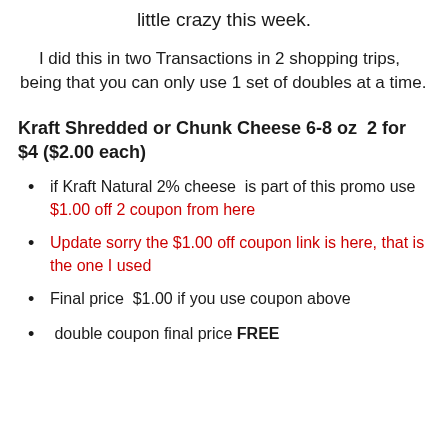little crazy this week.
I did this in two Transactions in 2 shopping trips, being that you can only use 1 set of doubles at a time.
Kraft Shredded or Chunk Cheese 6-8 oz  2 for $4 ($2.00 each)
if Kraft Natural 2% cheese  is part of this promo use $1.00 off 2 coupon from here
Update sorry the $1.00 off coupon link is here, that is the one I used
Final price  $1.00 if you use coupon above
double coupon final price FREE